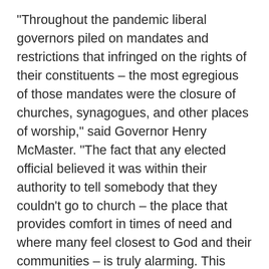"Throughout the pandemic liberal governors piled on mandates and restrictions that infringed on the rights of their constituents – the most egregious of those mandates were the closure of churches, synagogues, and other places of worship," said Governor Henry McMaster. "The fact that any elected official believed it was within their authority to tell somebody that they couldn't go to church – the place that provides comfort in times of need and where many feel closest to God and their communities – is truly alarming. This legislation further ensures that South Carolinians' constitutionally protected right to worship will not be infringed."
Under the legislation, any places of worship